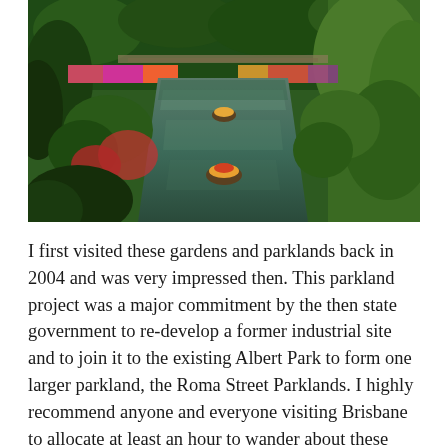[Figure (photo): Aerial view of ornamental gardens and parklands with a central canal/waterway, colourful flower beds, tropical palms and lush greenery — Roma Street Parklands, Brisbane.]
I first visited these gardens and parklands back in 2004 and was very impressed then. This parkland project was a major commitment by the then state government to re-develop a former industrial site and to join it to the existing Albert Park to form one larger parkland, the Roma Street Parklands. I highly recommend anyone and everyone visiting Brisbane to allocate at least an hour to wander about these parklands ten minutes or more away from the Brisbane CBD. (click on any image to enlarge it)